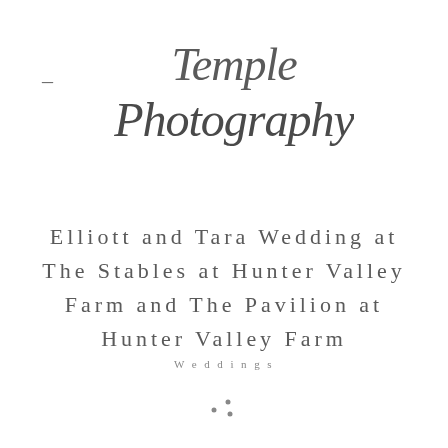[Figure (logo): Temple Photography cursive script logo in dark gray, with a dash/em-dash to the left]
Elliott and Tara Wedding at The Stables at Hunter Valley Farm and The Pavilion at Hunter Valley Farm
Weddings
[Figure (other): Three small dots arranged in a triangle pattern, decorative element]